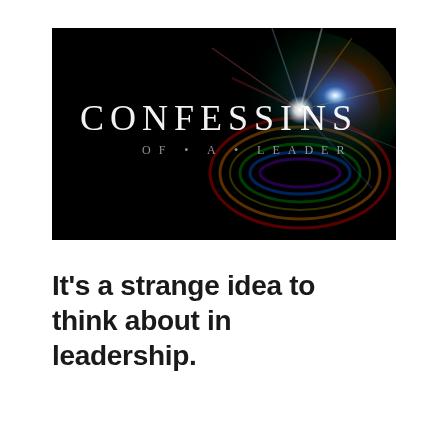[Figure (illustration): Book or media cover image with black background and colorful light burst/lens flare effect. Text reads 'CONFESSIONS OF A LEADER' in white/silver serif typography.]
It's a strange idea to think about in leadership.